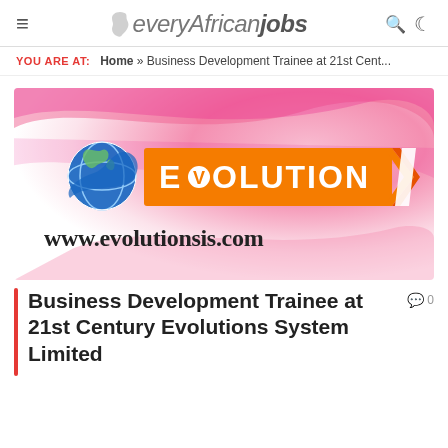everyAfricanjobs
YOU ARE AT: Home » Business Development Trainee at 21st Cent...
[Figure (logo): Evolution Systems logo with globe icon and orange EVOLUTION badge, www.evolutionsis.com URL text, on pink swirl background]
Business Development Trainee at 21st Century Evolutions System Limited